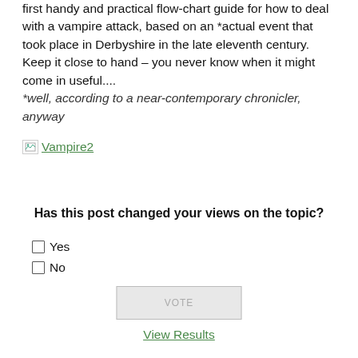first handy and practical flow-chart guide for how to deal with a vampire attack, based on an *actual event that took place in Derbyshire in the late eleventh century. Keep it close to hand – you never know when it might come in useful....
*well, according to a near-contemporary chronicler, anyway
[Figure (other): Broken image placeholder linking to 'Vampire2']
Has this post changed your views on the topic?
Yes
No
VOTE
View Results